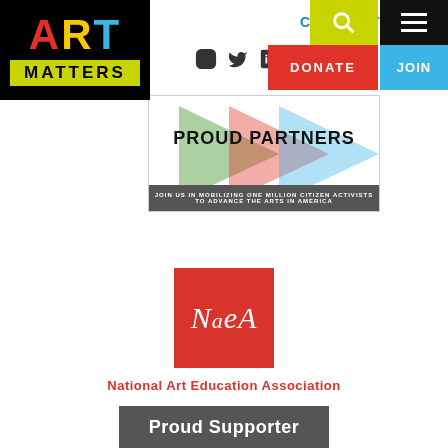[Figure (logo): ART MATTERS logo — black background, ART in large letters (A=red, R=yellow, T=cyan), MATTERS in black text on yellow-green bar]
CONTACT  🔍  ☰  [Instagram] [Twitter] [LinkedIn] [Facebook]  DONATE  JOIN
[Figure (infographic): Proud Partners banner: decorative arrow shapes in green/red/teal on white background, text 'PROUD PARTNERS' and 'JOIN US IN MOBILIZING ONE MILLION CITIZEN ACTIVISTS TO ADVANCE THE ARTS IN AMERICA']
[Figure (logo): NAEA logo — red square with white italic 'NaeA' text]
National Art Education Association
[Figure (infographic): Proud Supporter dark grey banner with white text]